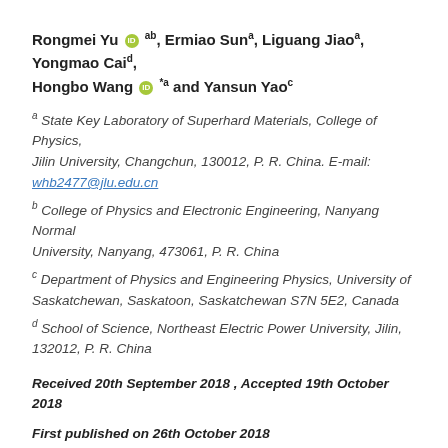Rongmei Yu [ORCID] ab, Ermiao Suna, Liguang Jiaoa, Yongmao Caid, Hongbo Wang [ORCID] *a and Yansun Yaoc
a State Key Laboratory of Superhard Materials, College of Physics, Jilin University, Changchun, 130012, P. R. China. E-mail: whb2477@jlu.edu.cn
b College of Physics and Electronic Engineering, Nanyang Normal University, Nanyang, 473061, P. R. China
c Department of Physics and Engineering Physics, University of Saskatchewan, Saskatoon, Saskatchewan S7N 5E2, Canada
d School of Science, Northeast Electric Power University, Jilin, 132012, P. R. China
Received 20th September 2018 , Accepted 19th October 2018
First published on 26th October 2018